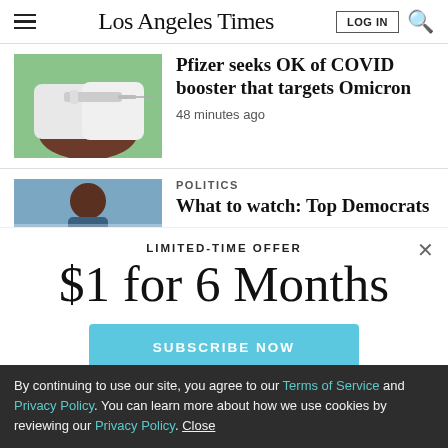Los Angeles Times
Pfizer seeks OK of COVID booster that targets Omicron
48 minutes ago
POLITICS
What to watch: Top Democrats
LIMITED-TIME OFFER
$1 for 6 Months
SUBSCRIBE NOW
By continuing to use our site, you agree to our Terms of Service and Privacy Policy. You can learn more about how we use cookies by reviewing our Privacy Policy. Close